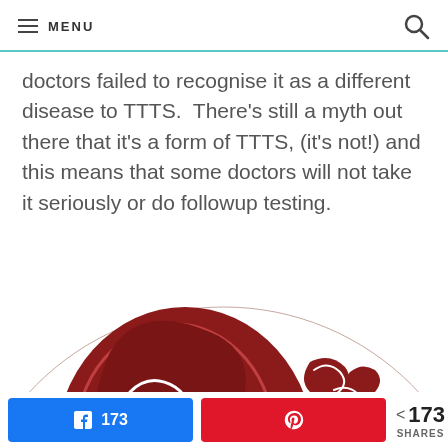MENU
doctors failed to recognise it as a different disease to TTTS. There's still a myth out there that it's a form of TTTS, (it's not!) and this means that some doctors will not take it seriously or do followup testing.
[Figure (illustration): Partial view of a circular medical illustration showing two fetuses in dark red/maroon color on a white background, depicting twin pregnancy.]
173 SHARES